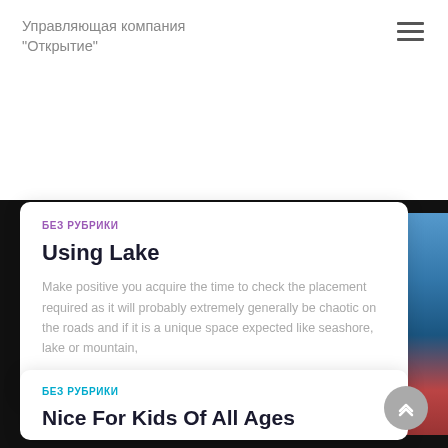Управляющая компания "Открытие"
БЕЗ РУБРИКИ
Using Lake
Make positive you acquire the time to check the placement required as it will probably extremely generally be chaotic on the roads and if it is a unique space expected like seashore, lake or mountain,
Читать дальше…
БЕЗ РУБРИКИ
Nice For Kids Of All Ages